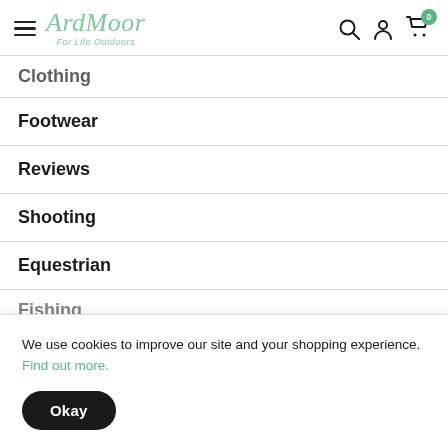ArdMoor — For Life Outdoors
Clothing
Footwear
Reviews
Shooting
Equestrian
Fishing
We use cookies to improve our site and your shopping experience. Find out more.